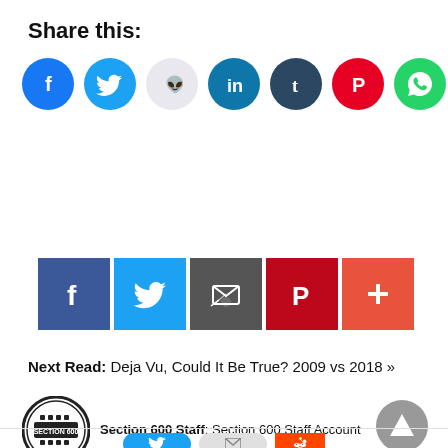Share this:
[Figure (infographic): Row of circular social media share buttons: Facebook (blue), Twitter (blue), Reddit (light grey), LinkedIn (dark teal), Tumblr (dark navy), Pinterest (red), WhatsApp (green)]
[Figure (infographic): Row of square social media share buttons: Facebook (dark blue f), Twitter (blue bird), Email (grey envelope), Pinterest (red P), More/Plus (orange-red +)]
Next Read: Deja Vu, Could It Be True? 2009 vs 2018 »
[Figure (logo): Section 600 Staff circular logo badge]
Section 600 Staff: Section 600 Staff Account
[Figure (infographic): Bottom bar with Twitter (blue oval), Email (grey oval), and Reddit (orange square) share buttons]